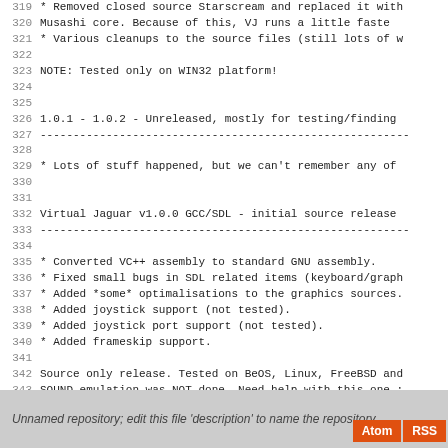319  * Removed closed source Starscream and replaced it with Musashi core. Because of this, VJ runs a little faste
321  * Various cleanups to the source files (still lots of w
323 NOTE: Tested only on WIN32 platform!
326 1.0.1 - 1.0.2 - Unreleased, mostly for testing/finding
329  * Lots of stuff happened, but we can't remember any of
332 Virtual Jaguar v1.0.0 GCC/SDL - initial source release
335  * Converted VC++ assembly to standard GNU assembly.
336  * Fixed small bugs in SDL related items (keyboard/graph
337  * Added *some* optimalisations to the graphics sources.
338  * Added joystick support (not tested).
339  * Added joystick port support (not tested).
340  * Added frameskip support.
342 Source only release. Tested on BeOS, Linux, FreeBSD and
343 SOUND emulation was NOT done. Need help with this one :
346 SDLEMU (Niels Wagenaar & Caz) - http://sdlemu.ngemu.com
Unnamed repository; edit this file 'description' to name the repository.